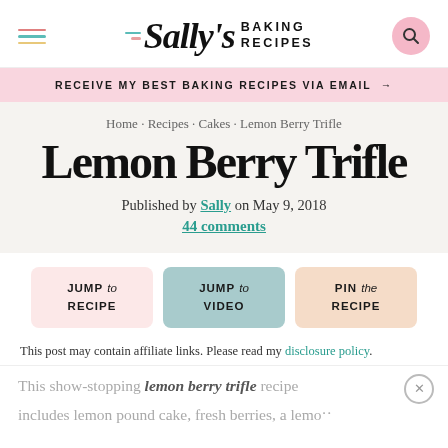Sally's BAKING RECIPES
RECEIVE MY BEST BAKING RECIPES VIA EMAIL →
Home · Recipes · Cakes · Lemon Berry Trifle
Lemon Berry Trifle
Published by Sally on May 9, 2018
44 comments
JUMP to RECIPE
JUMP to VIDEO
PIN the RECIPE
This post may contain affiliate links. Please read my disclosure policy.
This show-stopping lemon berry trifle recipe includes lemon pound cake, fresh berries, a lemon…